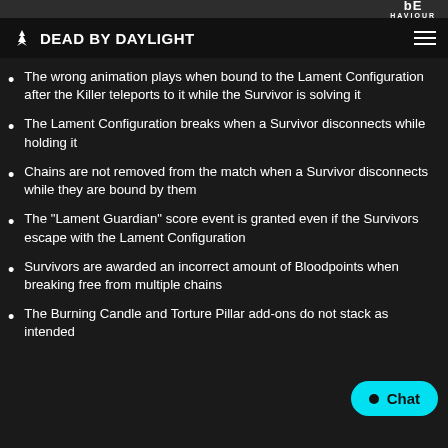bE HAVIOUR | DEAD BY DAYLIGHT
The wrong animation plays when bound to the Lament Configuration after the Killer teleports to it while the Survivor is solving it
The Lament Configuration breaks when a Survivor disconnects while holding it
Chains are not removed from the match when a Survivor disconnects while they are bound by them
The "Lament Guardian" score event is granted even if the Survivors escape with the Lament Configuration
Survivors are awarded an incorrect amount of Bloodpoints when breaking free from multiple chains
The Burning Candle and Torture Pillar add-ons do not stack as intended